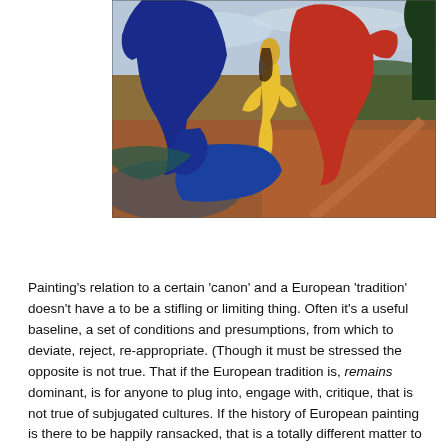[Figure (illustration): Colorful painting depicting human figures and horses in bold primary colors — a yellow nude figure, blue reclining figures, a large red horse, and a dark blue horse — set against a warm landscape background with a sky and distant hills.]
Painting's relation to a certain 'canon' and a European 'tradition' doesn't have a to be a stifling or limiting thing. Often it's a useful baseline, a set of conditions and presumptions, from which to deviate, reject, re-appropriate. (Though it must be stressed the opposite is not true. That if the European tradition is, remains dominant, is for anyone to plug into, engage with, critique, that is not true of subjugated cultures. If the history of European painting is there to be happily ransacked, that is a totally different matter to cultural appropriation in the other direction).